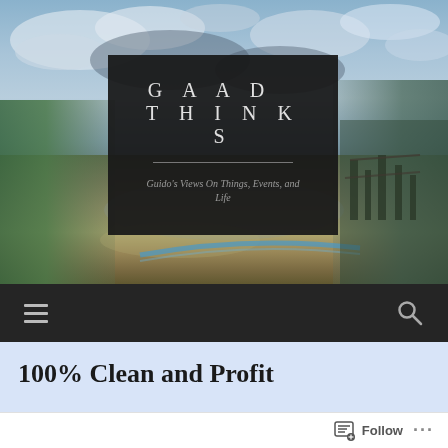[Figure (photo): Outdoor scenic photo used as website header background, showing a beach/coastal scene with cloudy sky, green vegetation on the left, and boats/wooden structures on the right. Blue and earthy tones dominate.]
GAAD THINKS
Guido's Views On Things, Events, and Life
[Figure (other): Navigation bar with hamburger menu icon (three horizontal lines) on the left and a search/magnifying glass icon on the right, on a dark background.]
100% Clean and Profit
Follow
...